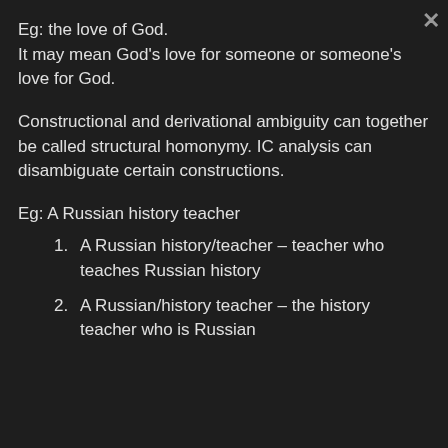Eg: the love of God.
It may mean God's love for someone or someone's love for God.
Constructional and derivational ambiguity can together be called structural homonymy. IC analysis can disambiguate certain constructions.
Eg: A Russian history teacher
1. A Russian history/teacher – teacher who teaches Russian history
2. A Russian/history teacher – the history teacher who is Russian